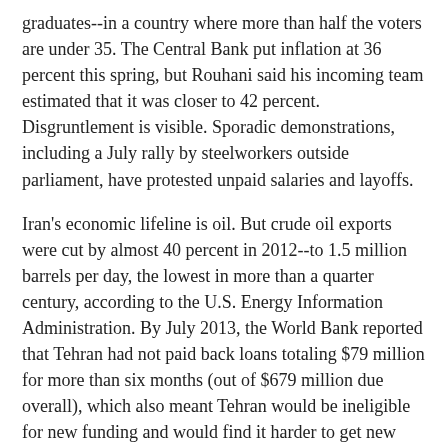graduates--in a country where more than half the voters are under 35. The Central Bank put inflation at 36 percent this spring, but Rouhani said his incoming team estimated that it was closer to 42 percent. Disgruntlement is visible. Sporadic demonstrations, including a July rally by steelworkers outside parliament, have protested unpaid salaries and layoffs.
Iran's economic lifeline is oil. But crude oil exports were cut by almost 40 percent in 2012--to 1.5 million barrels per day, the lowest in more than a quarter century, according to the U.S. Energy Information Administration. By July 2013, the World Bank reported that Tehran had not paid back loans totaling $79 million for more than six months (out of $679 million due overall), which also meant Tehran would be ineligible for new funding and would find it harder to get new money from commercial creditors.
"For the first time since the imposed war [with Iraq from 1980 to 1988], our economic growth has been